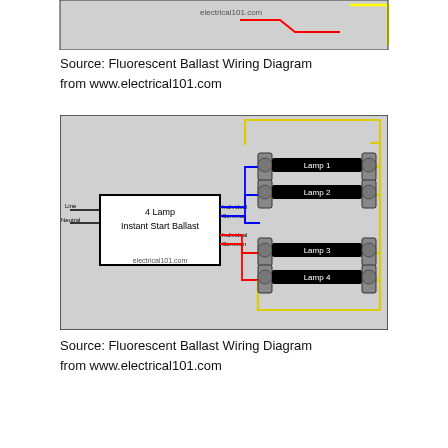[Figure (schematic): Partial view of a fluorescent ballast wiring diagram showing wires (red, yellow) from www.electrical101.com]
Source: Fluorescent Ballast Wiring Diagram
from www.electrical101.com
[Figure (schematic): 4 Lamp Instant Start Ballast wiring diagram showing Line/Neutral inputs, Individual/Common outputs (blue and red wires), connected to Lamp 1, Lamp 2, Lamp 3, Lamp 4 via lamp holders with yellow common wire loop. From electrical101.com]
Source: Fluorescent Ballast Wiring Diagram
from www.electrical101.com